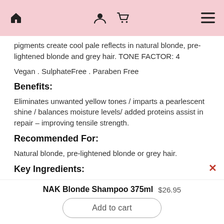NAK Blonde Shampoo 375ml product page navigation bar
pigments create cool pale reflects in natural blonde, pre-lightened blonde and grey hair. TONE FACTOR: 4
Vegan . SulphateFree . Paraben Free
Benefits:
Eliminates unwanted yellow tones / imparts a pearlescent shine / balances moisture levels/ added proteins assist in repair – improving tensile strength.
Recommended For:
Natural blonde, pre-lightened blonde or grey hair.
Key Ingredients:
Anti-Yellow Toning Actives, Vitamin B5, Benzophenone-4, Vegan Complex of Coconut Oil, Aloe Vera, Hydrolysed Rice
NAK Blonde Shampoo 375ml  $26.95
Add to cart